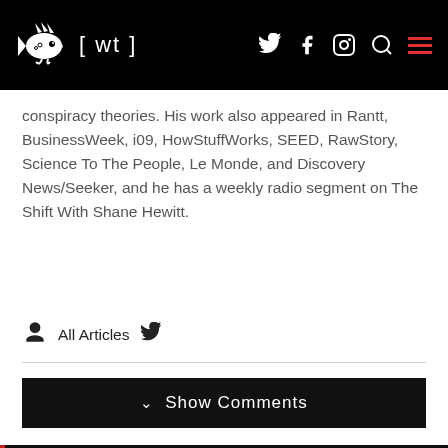[ wt ]
conspiracy theories. His work also appeared in Rantt, BusinessWeek, i09, HowStuffWorks, SEED, RawStory, Science To The People, Le Monde, and Discovery News/Seeker, and he has a weekly radio segment on The Shift With Shane Hewitt.
All Articles
Show Comments
latest reads